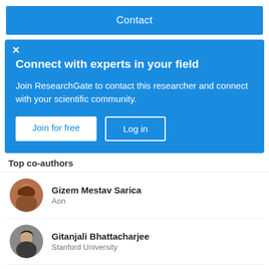Contact
Connect with experts in your field
Join ResearchGate to contact this researcher and connect with your scientific community.
Join for free
Log in
Top co-authors
Gizem Mestav Sarica
Aon
Gitanjali Bhattacharjee
Stanford University
Jieun Hur
The Ohio State University
Robert Banick